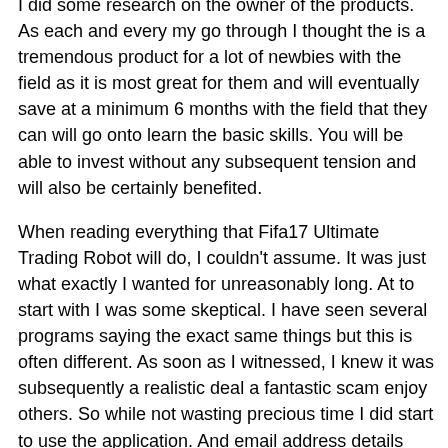I did some research on the owner of the products. As each and every my go through I thought the is a tremendous product for a lot of newbies with the field as it is most great for them and will eventually save at a minimum 6 months with the field that they can will go onto learn the basic skills. You will be able to invest without any subsequent tension and will also be certainly benefited.
When reading everything that Fifa17 Ultimate Trading Robot will do, I couldn't assume. It was just what exactly I wanted for unreasonably long. At to start with I was some skeptical. I have seen several programs saying the exact same things but this is often different. As soon as I witnessed, I knew it was subsequently a realistic deal a fantastic scam enjoy others. So while not wasting precious time I did start to use the application. And email address details are incredible. Even more than I imagined. It's impossible to find a different option to Fifa17 Ultimate